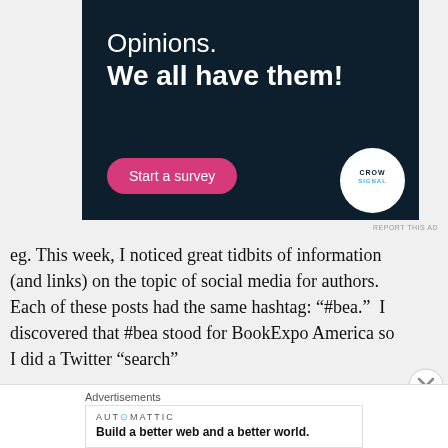[Figure (other): Crowdsignal advertisement banner with dark navy background. Text reads 'Opinions. We all have them!' with a pink 'Start a survey' button and the Crowdsignal logo (white circle) in the bottom right.]
REPORT THIS AD
eg. This week, I noticed great tidbits of information (and links) on the topic of social media for authors.  Each of these posts had the same hashtag: “#bea.”  I discovered that #bea stood for BookExpo America so I did a Twitter “search”
Advertisements
[Figure (other): Automattic advertisement. Logo reads 'AUTOMATTIC' with a colored dot. Tagline: 'Build a better web and a better world.']